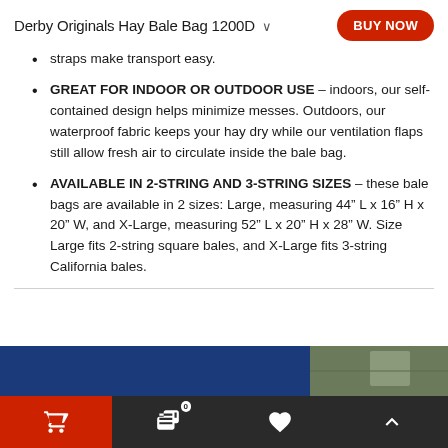Derby Originals Hay Bale Bag 1200D  BUY NOW
straps make transport easy.
GREAT FOR INDOOR OR OUTDOOR USE – indoors, our self-contained design helps minimize messes. Outdoors, our waterproof fabric keeps your hay dry while our ventilation flaps still allow fresh air to circulate inside the bale bag.
AVAILABLE IN 2-STRING AND 3-STRING SIZES – these bale bags are available in 2 sizes: Large, measuring 44" L x 16" H x 20" W, and X-Large, measuring 52" L x 20" H x 28" W. Size Large fits 2-string square bales, and X-Large fits 3-string California bales.
[Figure (screenshot): Bottom navigation bar with blue product image section and dark navigation icons]